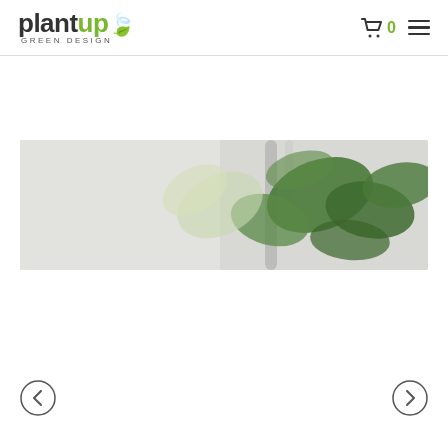plantup GREEN DESIGN — navigation with cart (0) and menu
[Figure (photo): Close-up blurred photo of green plant leaves against a light grey/white background, showing large rounded dark green leaves and lighter green/white stems]
[Figure (other): Left navigation arrow (back) circle button]
[Figure (other): Right navigation arrow (forward) circle button]